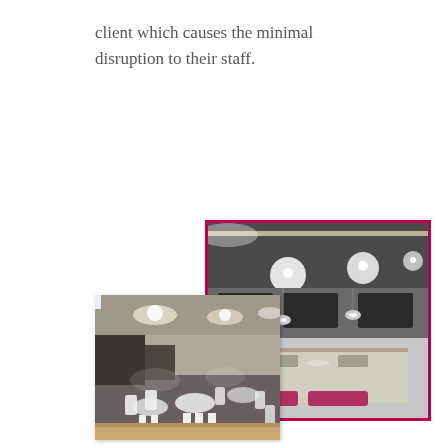client which causes the minimal disruption to their staff.
[Figure (photo): Two overlapping photos showing an office/canteen interior and ceiling lighting installations. The right photo has a red border and shows modern pendant and recessed ceiling lights. The left photo overlaps in front and shows an open-plan office or cafeteria with tables, chairs, and ceiling lights.]